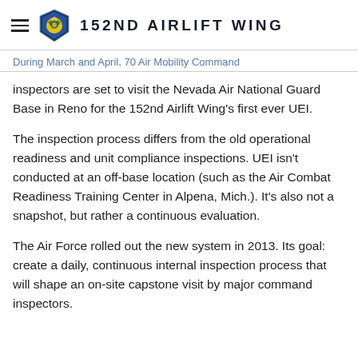152ND AIRLIFT WING
During March and April, 70 Air Mobility Command inspectors are set to visit the Nevada Air National Guard Base in Reno for the 152nd Airlift Wing's first ever UEI.
The inspection process differs from the old operational readiness and unit compliance inspections. UEI isn't conducted at an off-base location (such as the Air Combat Readiness Training Center in Alpena, Mich.). It's also not a snapshot, but rather a continuous evaluation.
The Air Force rolled out the new system in 2013. Its goal: create a daily, continuous internal inspection process that will shape an on-site capstone visit by major command inspectors.